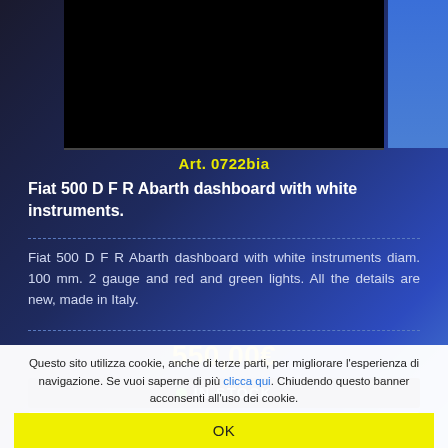[Figure (photo): Product image area showing a dark/black dashboard photo]
Art. 0722bia
Fiat 500 D F R Abarth dashboard with white instruments.
Fiat 500 D F R Abarth dashboard with white instruments diam. 100 mm. 2 gauge and red and green lights. All the details are new, made in Italy.
550,00€
IN STOCK
ADD TO CART
Questo sito utilizza cookie, anche di terze parti, per migliorare l'esperienza di navigazione. Se vuoi saperne di più clicca qui. Chiudendo questo banner acconsenti all'uso dei cookie.
OK